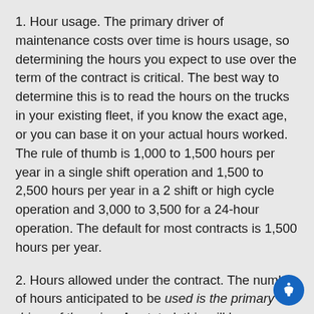1. Hour usage. The primary driver of maintenance costs over time is hours usage, so determining the hours you expect to use over the term of the contract is critical. The best way to determine this is to read the hours on the trucks in your existing fleet, if you know the exact age, or you can base it on your actual hours worked. The rule of thumb is 1,000 to 1,500 hours per year in a single shift operation and 1,500 to 2,500 hours per year in a 2 shift or high cycle operation and 3,000 to 3,500 for a 24-hour operation. The default for most contracts is 1,500 hours per year.
2. Hours allowed under the contract. The number of hours anticipated to be used is the primary driver of the price. As stated, this will be anywhere from 1,500 to 3,000 hours per year but could be any number, an unlimited number (rare) or a very low number. It must